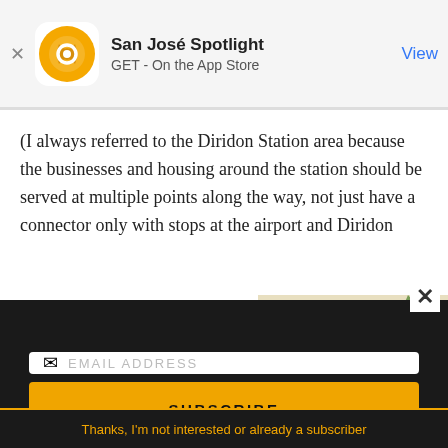San José Spotlight — GET - On the App Store — View
(I always referred to the Diridon Station area because the businesses and housing around the station should be served at multiple points along the way, not just have a connector only with stops at the airport and Diridon
[Figure (advertisement): San José Spotlight advertisement: 'Where San Jose locals start the day.' with logo, website sanjosespotlight.com, and a tablet device image]
EMAIL ADDRESS
SUBSCRIBE
Thanks, I'm not interested or already a subscriber